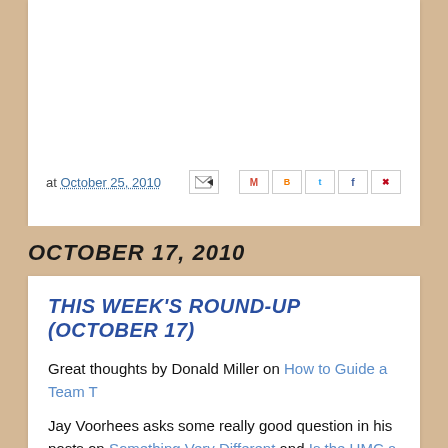at October 25, 2010
OCTOBER 17, 2010
THIS WEEK'S ROUND-UP (OCTOBER 17)
Great thoughts by Donald Miller on How to Guide a Team T…
Jay Voorhees asks some really good question in his posts on Something Very Different and Is the UMC a Franchisor? Th… identity are really important, and he articulates the problem… think I've suspected the disjunction he points out. From the…